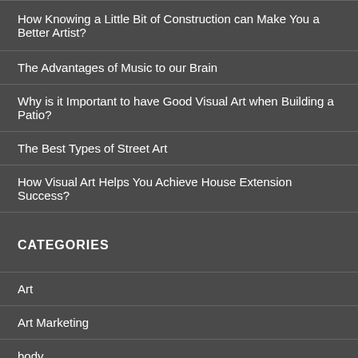How Knowing a Little Bit of Construction can Make You a Better Artist?
The Advantages of Music to our Brain
Why is it Important to have Good Visual Art when Building a Patio?
The Best Types of Street Art
How Visual Art Helps You Achieve House Extension Success?
CATEGORIES
Art
Art Marketing
body
Fashion